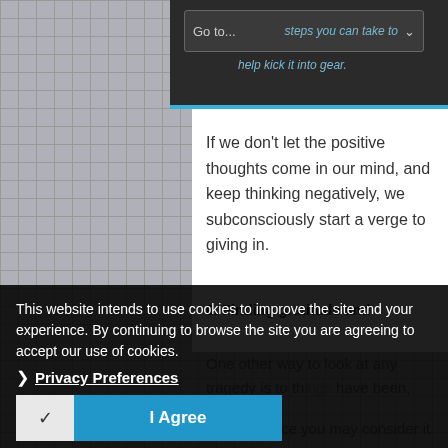Go to... | steps you can take to help kick it into gear.
If we don't let the positive thoughts come in our mind, and keep thinking negatively, we subconsciously start a verge to giving in.
6. Finding gratitude and
One other way to look at any tragedy is to th... have been,
This website intends to use cookies to improve the site and your experience. By continuing to browse the site you are agreeing to accept our use of cookies.
Privacy Preferences
I Agree
At first glance you may consider it